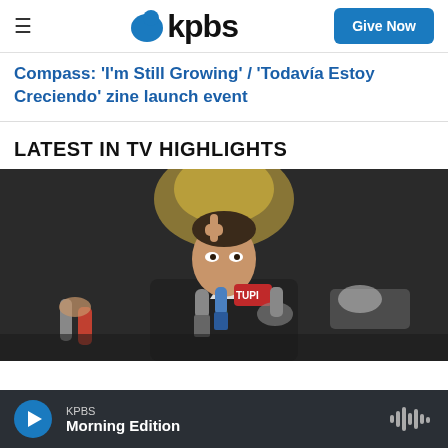kpbs — Give Now
Compass: 'I'm Still Growing' / 'Todavía Estoy Creciendo' zine launch event
LATEST IN TV HIGHLIGHTS
[Figure (photo): A man in a dark suit gestures with one finger raised upward while surrounded by journalists holding microphones including a red TUPI microphone; press conference scene with dark background]
KPBS  Morning Edition